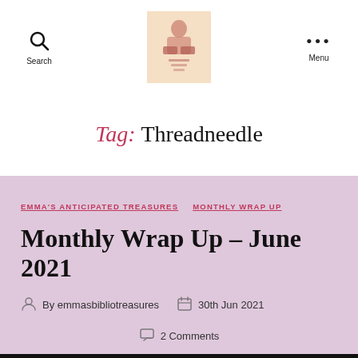Search | [Logo] | Menu
Tag: Threadneedle
EMMA'S ANTICIPATED TREASURES   MONTHLY WRAP UP
Monthly Wrap Up - June 2021
By emmasbibliotreasures   30th Jun 2021   2 Comments